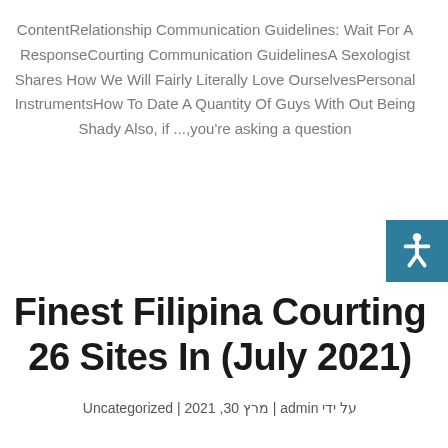ContentRelationship Communication Guidelines: Wait For A ResponseCourting Communication GuidelinesA Sexologist Shares How We Will Fairly Literally Love OurselvesPersonal InstrumentsHow To Date A Quantity Of Guys With Out Being Shady Also, if ...,you're asking a question
Finest Filipina Courting 26 Sites In (July 2021)
Uncategorized | 2021 ,30 מרץ | admin על ידי